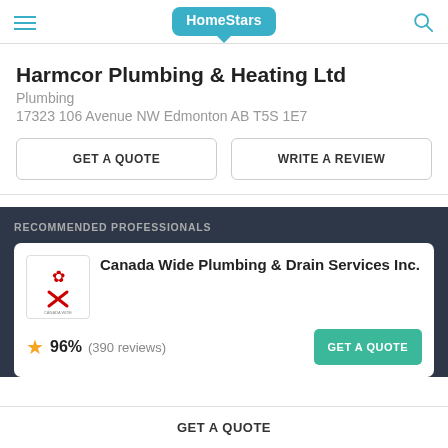HomeStars
Harmcor Plumbing & Heating Ltd
Plumbing
17323 106 Avenue NW Edmonton AB T5S 1E7
GET A QUOTE
WRITE A REVIEW
RECOMMENDED PROFESSIONALS
Canada Wide Plumbing & Drain Services Inc.
96% (390 reviews)
GET A QUOTE
GET A QUOTE